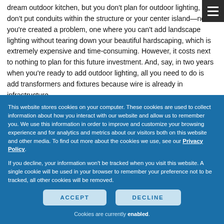dream outdoor kitchen, but you don't plan for outdoor lighting, you don't put conduits within the structure or your center island—now you're created a problem, one where you can't add landscape lighting without tearing down your beautiful hardscaping, which is extremely expensive and time-consuming. However, it costs next to nothing to plan for this future investment. And, say, in two years when you're ready to add outdoor lighting, all you need to do is add transformers and fixtures because wire is already in infrastructure.
Start Small
This website stores cookies on your computer. These cookies are used to collect information about how you interact with our website and allow us to remember you. We use this information in order to improve and customize your browsing experience and for analytics and metrics about our visitors both on this website and other media. To find out more about the cookies we use, see our Privacy Policy.
If you decline, your information won't be tracked when you visit this website. A single cookie will be used in your browser to remember your preference not to be tracked, all other cookies will be removed.
Cookies are currently enabled.